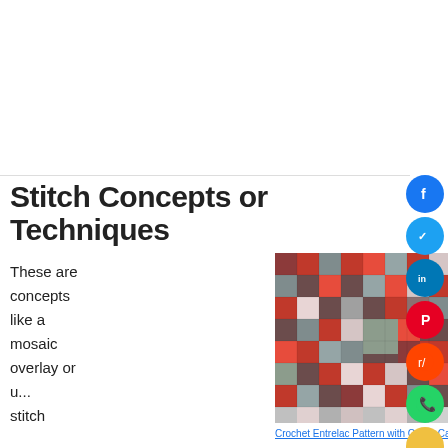[Figure (other): White ad space placeholder at top of page]
Stitch Concepts or Techniques
These are concepts like a mosaic overlay or u... stitch
[Figure (photo): Close-up photo of a crochet entrelac pattern with red, gray, pink, and brown squares in a diagonal mosaic arrangement]
Crochet Entrelac Pattern with Caron Cakes